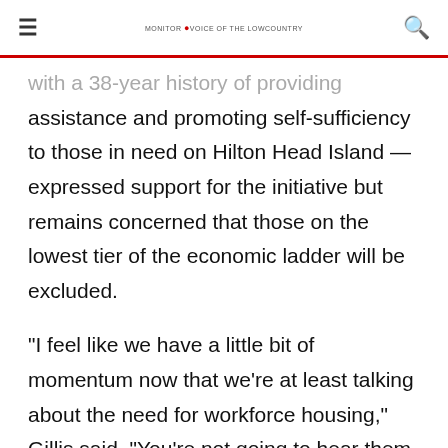≡  MONITOR VOICE of the LOWCOUNTRY  🔍
with a 38-year history of providing assistance and promoting self-sufficiency to those in need on Hilton Head Island — expressed support for the initiative but remains concerned that those on the lowest tier of the economic ladder will be excluded.
"I feel like we have a little bit of momentum now that we're at least talking about the need for workforce housing," Gillis said. "You're not going to hear them talking about the guys who work on the golf courses or the ladies who clean the condos. They're going to talk about the teachers, and